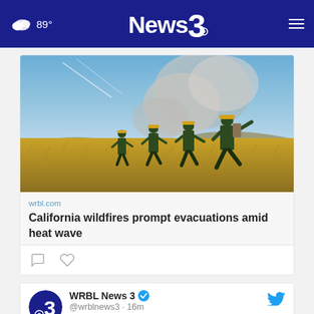89° News 3
[Figure (photo): Wildfire fighters in yellow helmets and gear walking through dry grass field with smoke in the background]
wrbl.com
California wildfires prompt evacuations amid heat wave
[Figure (screenshot): Tweet card showing WRBL News 3 @wrblnews3 · 16m with Twitter bird icon and avatar]